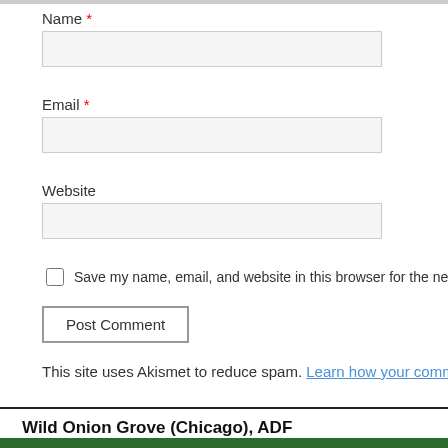Name *
Email *
Website
Save my name, email, and website in this browser for the next time I co
Post Comment
This site uses Akismet to reduce spam. Learn how your comme
Wild Onion Grove (Chicago), ADF